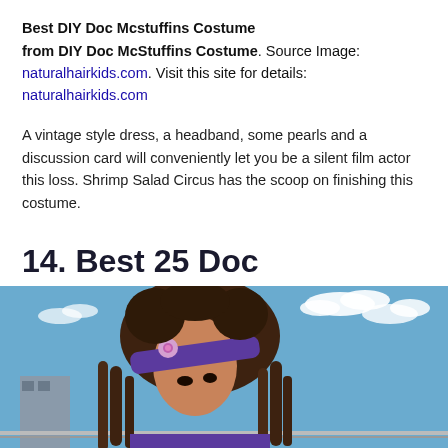Best DIY Doc Mcstuffins Costume
from DIY Doc McStuffins Costume. Source Image: naturalhairkids.com. Visit this site for details: naturalhairkids.com
A vintage style dress, a headband, some pearls and a discussion card will conveniently let you be a silent film actor this loss. Shrimp Salad Circus has the scoop on finishing this costume.
14. Best 25 Doc mcstuffins halloween costume ideas on
[Figure (photo): Child wearing a purple headband with a flower decoration and brown yarn braids/locs hairstyle, photographed outdoors against a blue sky with clouds]